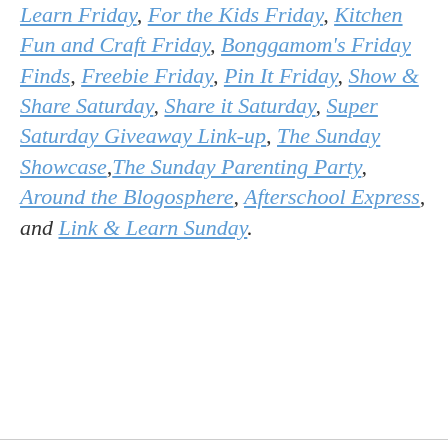Learn Friday, For the Kids Friday, Kitchen Fun and Craft Friday, Bonggamom's Friday Finds, Freebie Friday, Pin It Friday, Show & Share Saturday, Share it Saturday, Super Saturday Giveaway Link-up, The Sunday Showcase, The Sunday Parenting Party, Around the Blogosphere, Afterschool Express, and Link & Learn Sunday.